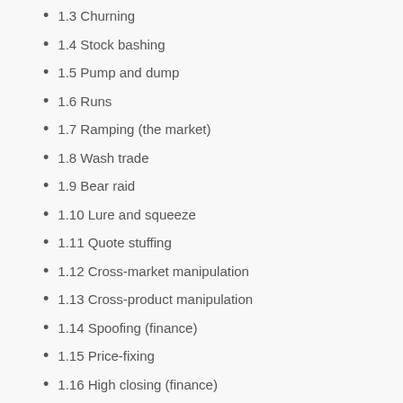1.3 Churning
1.4 Stock bashing
1.5 Pump and dump
1.6 Runs
1.7 Ramping (the market)
1.8 Wash trade
1.9 Bear raid
1.10 Lure and squeeze
1.11 Quote stuffing
1.12 Cross-market manipulation
1.13 Cross-product manipulation
1.14 Spoofing (finance)
1.15 Price-fixing
1.16 High closing (finance)
1.17 Cornering the market
2 References
Examples
Rampproofing